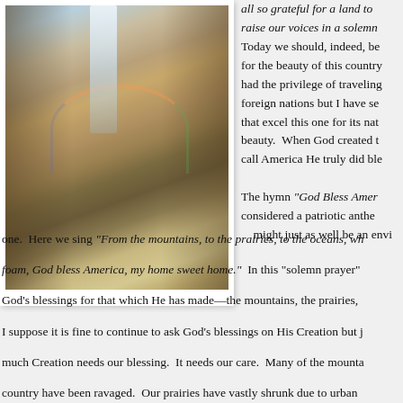[Figure (photo): Photograph of a canyon landscape with a waterfall, rocky canyon walls, and a rainbow arc, resembling Yellowstone's Grand Canyon]
all so grateful for a land to raise our voices in a solemn Today we should, indeed, be for the beauty of this country had the privilege of traveling foreign nations but I have se that excel this one for its nat beauty. When God created t call America He truly did ble
The hymn "God Bless Amer considered a patriotic anthe might just as well be an envi one. Here we sing "From the mountains, to the prairies, to the oceans, wh foam, God bless America, my home sweet home." In this "solemn prayer" God's blessings for that which He has made—the mountains, the prairies, oceans.
I suppose it is fine to continue to ask God's blessings on His Creation but j much Creation needs our blessing. It needs our care. Many of the mounta country have been ravaged. Our prairies have vastly shrunk due to urban development. The oceans surrounding our country were terribly polluted e before the BP oil spill. God blessed this "land that I love." We seem to h it.
There are those who want to make the argument that if we are to h